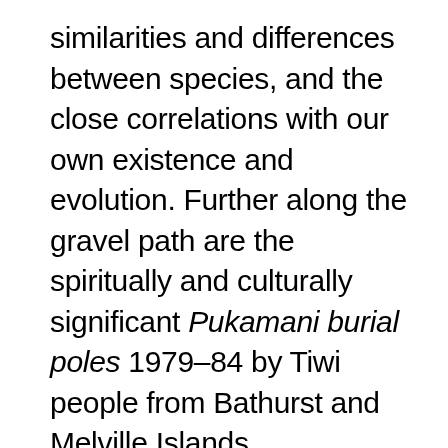similarities and differences between species, and the close correlations with our own existence and evolution. Further along the gravel path are the spiritually and culturally significant Pukamani burial poles 1979–84 by Tiwi people from Bathurst and Melville Islands.